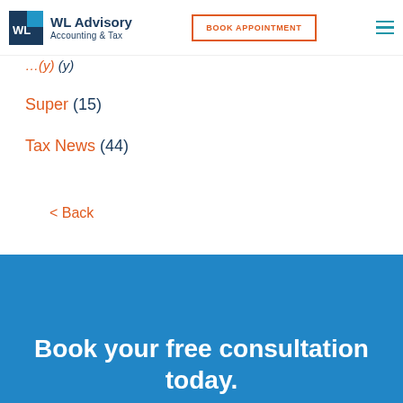WL Advisory Accounting & Tax | BOOK APPOINTMENT
(y) [partial, cut off at top]
Super (15)
Tax News (44)
< Back
Book your free consultation today.